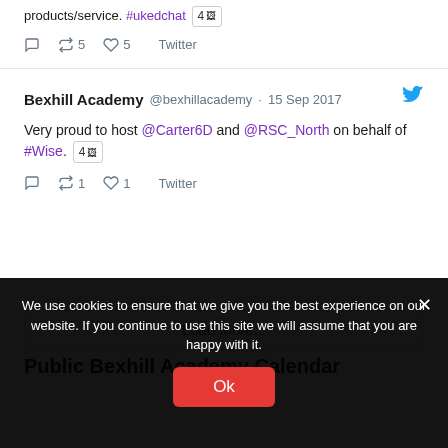products/service. #ukedchat 4[image]
↺ 5  ♡ 5  Twitter
Bexhill Academy @bexhillacademy · 15 Sep 2017
Very proud to host @Carter6D and @RSC_North on behalf of #Wise. 4[image]
↺ 1  ♡ 1  Twitter
Load More...
Public Bexhill Academy Calendar
We use cookies to ensure that we give you the best experience on our website. If you continue to use this site we will assume that you are happy with it.